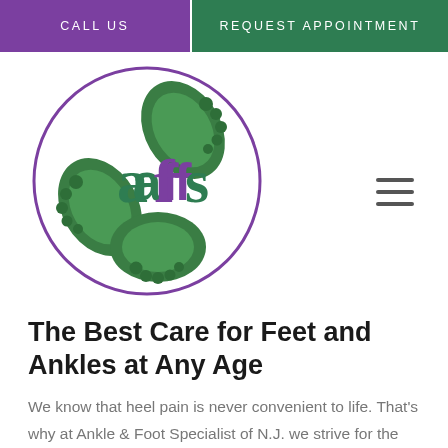CALL US   REQUEST APPOINTMENT
[Figure (logo): AFS (Ankle & Foot Specialist) circular logo with green leaf footprints and purple 'afs' text in the center, surrounded by a purple circle border]
The Best Care for Feet and Ankles at Any Age
We know that heel pain is never convenient to life. That's why at Ankle & Foot Specialist of N.J. we strive for the most effective treatments that not only relieve the condition, but get people back to their daily lives in the best ways and as